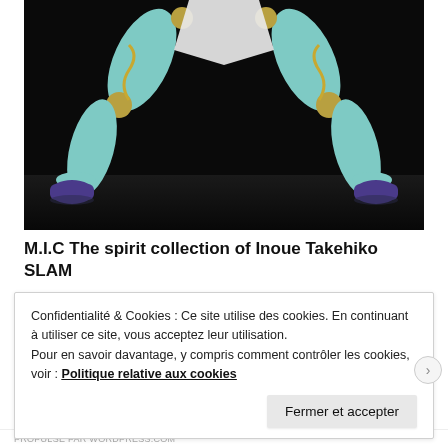[Figure (photo): Action figure with mint green legs and purple shoes spread wide in a dynamic pose against a dark background. Gold ball joints visible at knees and waist. White fabric drape visible at top center.]
M.I.C The spirit collection of Inoue Takehiko SLAM
Confidentialité & Cookies : Ce site utilise des cookies. En continuant à utiliser ce site, vous acceptez leur utilisation.
Pour en savoir davantage, y compris comment contrôler les cookies, voir : Politique relative aux cookies
Fermer et accepter